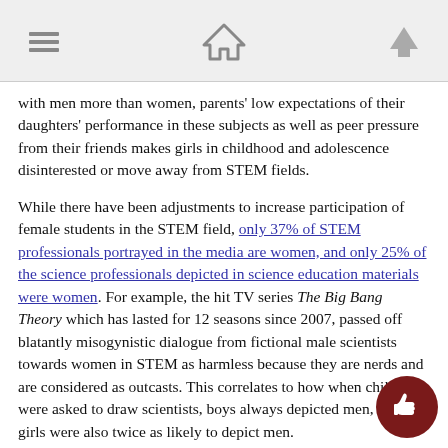[navigation icons: menu, home, up-arrow]
with men more than women, parents' low expectations of their daughters' performance in these subjects as well as peer pressure from their friends makes girls in childhood and adolescence disinterested or move away from STEM fields.
While there have been adjustments to increase participation of female students in the STEM field, only 37% of STEM professionals portrayed in the media are women, and only 25% of the science professionals depicted in science education materials were women. For example, the hit TV series The Big Bang Theory which has lasted for 12 seasons since 2007, passed off blatantly misogynistic dialogue from fictional male scientists towards women in STEM as harmless because they are nerds and are considered as outcasts. This correlates to how when children were asked to draw scientists, boys always depicted men, and girls were also twice as likely to depict men.
As girls overcome obstacles throughout their childhood and adolescence and enter emerging adulthood, they are still with obstacles that can make them leave the STEM field. O...